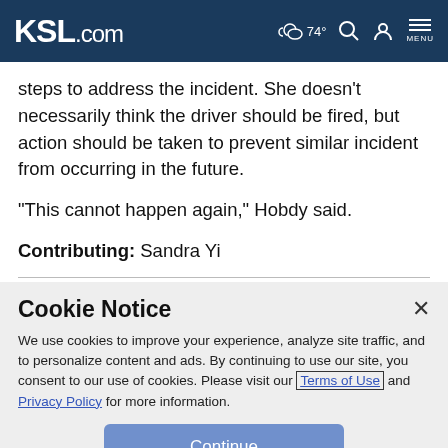KSL.com   ☁ 74°  🔍  👤  MENU
steps to address the incident. She doesn't necessarily think the driver should be fired, but action should be taken to prevent similar incident from occurring in the future.
"This cannot happen again," Hobdy said.
Contributing: Sandra Yi
Cookie Notice
We use cookies to improve your experience, analyze site traffic, and to personalize content and ads. By continuing to use our site, you consent to our use of cookies. Please visit our Terms of Use and Privacy Policy for more information.
Continue